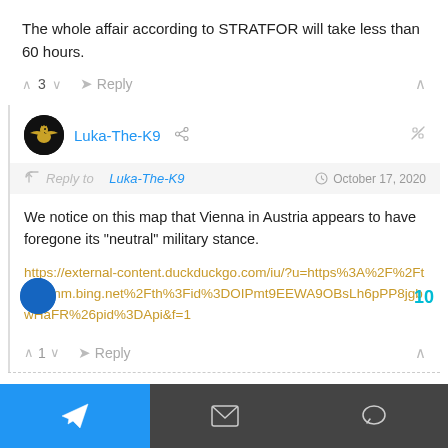The whole affair according to STRATFOR will take less than 60 hours.
^ 3 v  Reply  ^
[Figure (screenshot): User avatar for Luka-The-K9, black circle with gold eagle emblem]
Luka-The-K9
Reply to Luka-The-K9    October 17, 2020
We notice on this map that Vienna in Austria appears to have foregone its “neutral” military stance.
https://external-content.duckduckgo.com/iu/?u=https%3A%2F%2Ftse1.mm.bing.net%2Fth%3Fid%3DOIPmt9EEWA9OBsLh6pPP8jgbwHaFR%26pid%3DApi&f=1
^ 1 v  Reply  ^
10
Navigation bar with Telegram, email, and chat icons